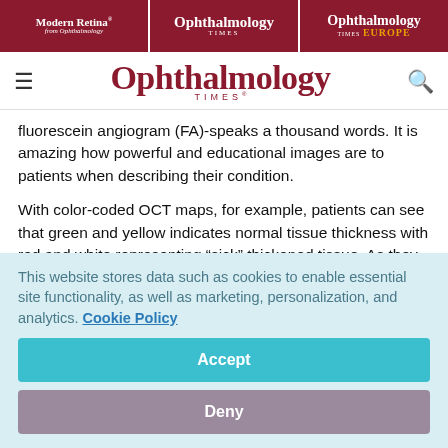Modern Retina | Ophthalmology Times | Ophthalmology Times Europe
Ophthalmology Times
fluorescein angiogram (FA)-speaks a thousand words. It is amazing how powerful and educational images are to patients when describing their condition.
With color-coded OCT maps, for example, patients can see that green and yellow indicates normal tissue thickness with red and white representing “sick” thickened tissue. As they
This website stores data such as cookies to enable essential site functionality, as well as marketing, personalization, and analytics. Cookie Policy
Accept
Deny